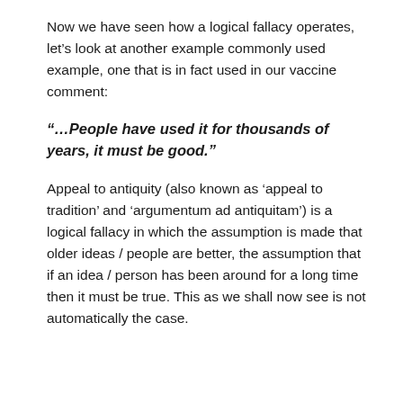Now we have seen how a logical fallacy operates, let's look at another example commonly used example, one that is in fact used in our vaccine comment:
“…People have used it for thousands of years, it must be good.”
Appeal to antiquity (also known as ‘appeal to tradition’ and ‘argumentum ad antiquitam’) is a logical fallacy in which the assumption is made that older ideas / people are better, the assumption that if an idea / person has been around for a long time then it must be true. This as we shall now see is not automatically the case.